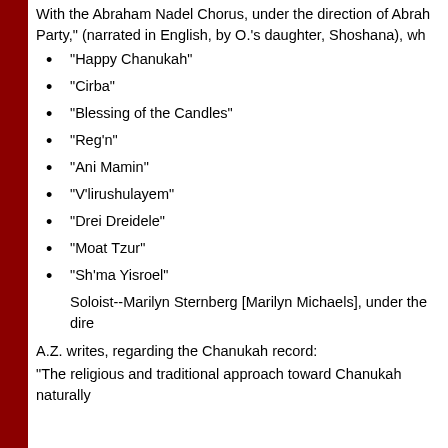With the Abraham Nadel Chorus, under the direction of Abrah Party," (narrated in English, by O.'s daughter, Shoshana), wh
"Happy Chanukah"
"Cirba"
"Blessing of the Candles"
"Reg'n"
"Ani Mamin"
"V'lirushulayem"
"Drei Dreidele"
"Moat Tzur"
"Sh'ma Yisroel"
Soloist--Marilyn Sternberg [Marilyn Michaels], under the dire
A.Z. writes, regarding the Chanukah record:
"The religious and traditional approach toward Chanukah naturally